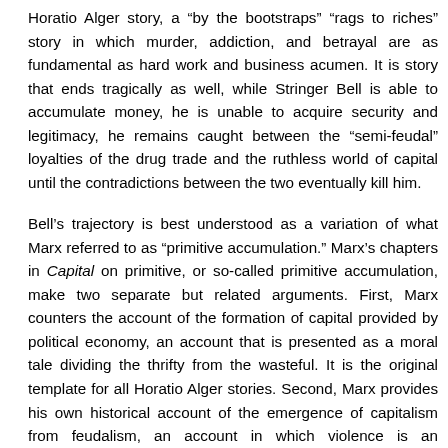Horatio Alger story, a “by the bootstraps” “rags to riches” story in which murder, addiction, and betrayal are as fundamental as hard work and business acumen. It is story that ends tragically as well, while Stringer Bell is able to accumulate money, he is unable to acquire security and legitimacy, he remains caught between the “semi-feudal” loyalties of the drug trade and the ruthless world of capital until the contradictions between the two eventually kill him.
Bell’s trajectory is best understood as a variation of what Marx referred to as “primitive accumulation.” Marx’s chapters in Capital on primitive, or so-called primitive accumulation, make two separate but related arguments. First, Marx counters the account of the formation of capital provided by political economy, an account that is presented as a moral tale dividing the thrifty from the wasteful. It is the original template for all Horatio Alger stories. Second, Marx provides his own historical account of the emergence of capitalism from feudalism, an account in which violence is an indispensable element. What is at stake in Marx’s theory (and in the works of such theorists as Althusser, Deleuze, and Negri that have developed these ideas) is less a matter